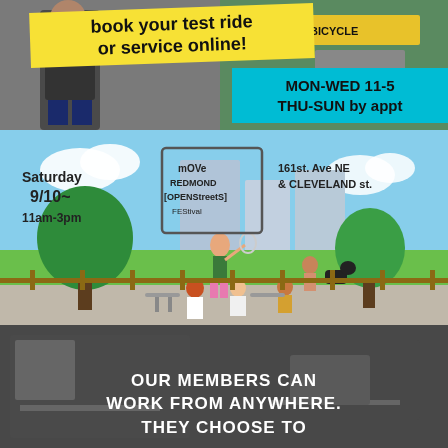[Figure (photo): Top strip: person photo on left, bicycle shop background on right, yellow diagonal banner reading 'book your test ride or service online!', cyan box with 'MON-WED 11-5 THU-SUN by appt']
[Figure (illustration): Move Redmond Open Streets Festival illustration - Saturday 9/10 11am-3pm, 161st Ave NE & Cleveland St. Cartoon scene with people in a park, trees, bubbles, person playing badminton, person in wheelchair at cafe table.]
[Figure (photo): Dark/grey photo of a coworking space interior with overlaid text: 'OUR MEMBERS CAN WORK FROM ANYWHERE. THEY CHOOSE TO']